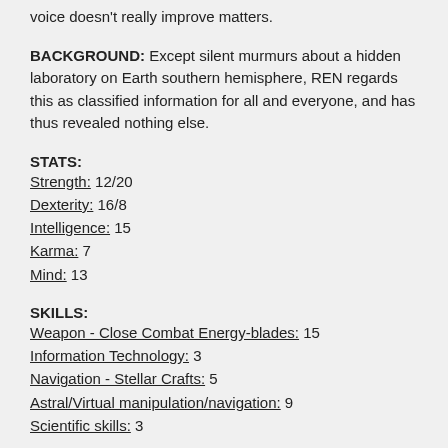voice doesn't really improve matters.
BACKGROUND: Except silent murmurs about a hidden laboratory on Earth southern hemisphere, REN regards this as classified information for all and everyone, and has thus revealed nothing else.
STATS:
Strength: 12/20
Dexterity: 16/8
Intelligence: 15
Karma: 7
Mind: 13
SKILLS:
Weapon - Close Combat Energy-blades: 15
Information Technology: 3
Navigation - Stellar Crafts: 5
Astral/Virtual manipulation/navigation: 9
Scientific skills: 3
ABILITIES:
Adaptive Process Power Transfer (5) - this allows REN to sacrifice flexibility for power, by bypassing priority classifications